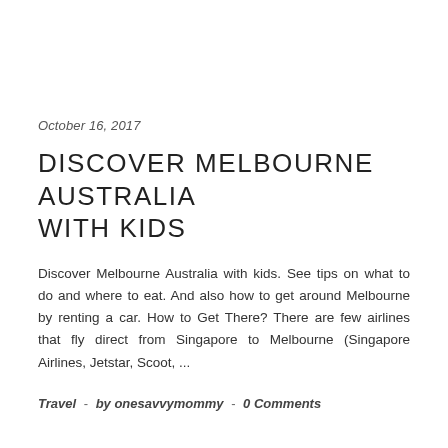October 16, 2017
DISCOVER MELBOURNE AUSTRALIA WITH KIDS
Discover Melbourne Australia with kids. See tips on what to do and where to eat. And also how to get around Melbourne by renting a car. How to Get There? There are few airlines that fly direct from Singapore to Melbourne (Singapore Airlines, Jetstar, Scoot, ...
Travel  -  by onesavvymommy  -  0 Comments